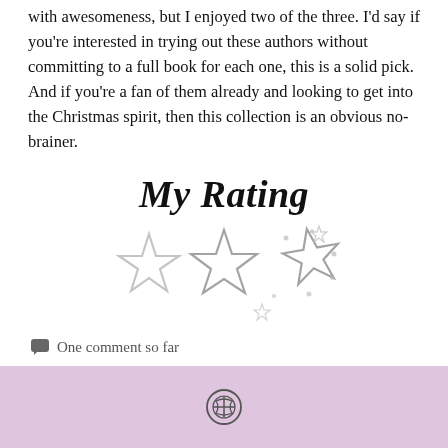with awesomeness, but I enjoyed two of the three. I'd say if you're interested in trying out these authors without committing to a full book for each one, this is a solid pick. And if you're a fan of them already and looking to get into the Christmas spirit, then this collection is an obvious no-brainer.
My Rating
[Figure (illustration): Three hand-drawn style stars in a cluster, light gray/outline style, arranged overlapping with small sparkle dots around them]
One comment so far
WordPress logo footer bar in lavender/pink color